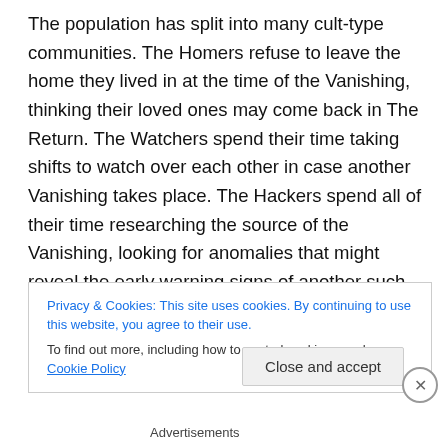The population has split into many cult-type communities. The Homers refuse to leave the home they lived in at the time of the Vanishing, thinking their loved ones may come back in The Return. The Watchers spend their time taking shifts to watch over each other in case another Vanishing takes place. The Hackers spend all of their time researching the source of the Vanishing, looking for anomalies that might reveal the early warning signs of another such happening. The Penitents are busy making amends so they aren't left behind if it happens again.
Privacy & Cookies: This site uses cookies. By continuing to use this website, you agree to their use.
To find out more, including how to control cookies, see here: Cookie Policy
Close and accept
Advertisements